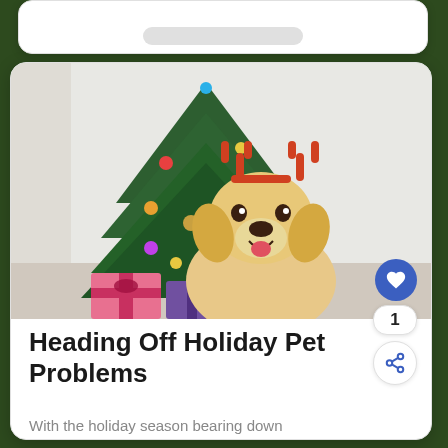[Figure (photo): A golden retriever dog wearing red reindeer antlers, sitting in front of a decorated Christmas tree with colorful ornaments and wrapped gifts nearby, in a bright indoor setting.]
Heading Off Holiday Pet Problems
With the holiday season bearing down